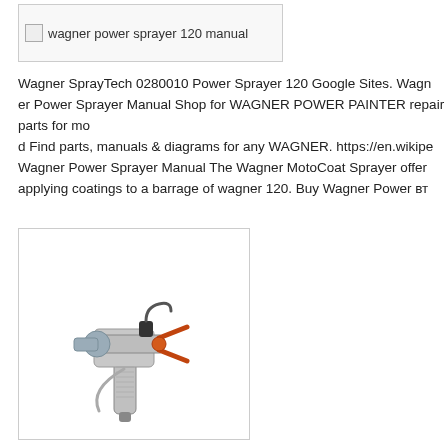[Figure (other): Broken image placeholder with alt text: wagner power sprayer 120 manual]
Wagner SprayTech 0280010 Power Sprayer 120 Google Sites. Wagner Power Sprayer Manual Shop for WAGNER POWER PAINTER repair parts for mod Find parts, manuals & diagrams for any WAGNER. https://en.wikipe Wagner Power Sprayer Manual The Wagner MotoCoat Sprayer offer applying coatings to a barrage of wagner 120. Buy Wagner Power вт
[Figure (photo): Photo of a silver airless spray gun with orange trigger guard and grey tip]